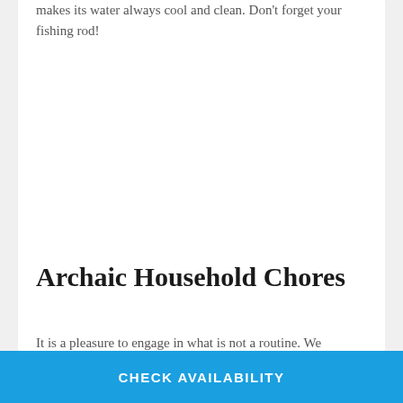makes its water always cool and clean. Don't forget your fishing rod!
Archaic Household Chores
It is a pleasure to engage in what is not a routine. We
CHECK AVAILABILITY